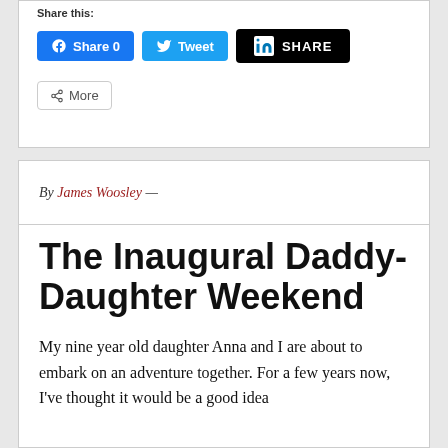Share this:
[Figure (screenshot): Social share buttons: Facebook Share 0, Tweet, LinkedIn SHARE, and More]
By James Woosley —
The Inaugural Daddy-Daughter Weekend
My nine year old daughter Anna and I are about to embark on an adventure together. For a few years now, I've thought it would be a good idea